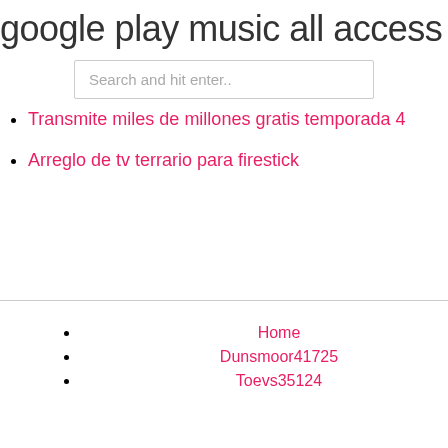google play music all access hack ap
Search and hit enter..
Transmite miles de millones gratis temporada 4
Arreglo de tv terrario para firestick
Home
Dunsmoor41725
Toevs35124